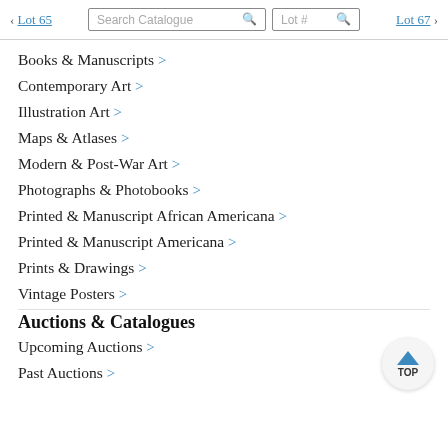< Lot 65  Search Catalogue  Lot #  Lot 67 >
Books & Manuscripts >
Contemporary Art >
Illustration Art >
Maps & Atlases >
Modern & Post-War Art >
Photographs & Photobooks >
Printed & Manuscript African Americana >
Printed & Manuscript Americana >
Prints & Drawings >
Vintage Posters >
Auctions & Catalogues
Upcoming Auctions >
Past Auctions >